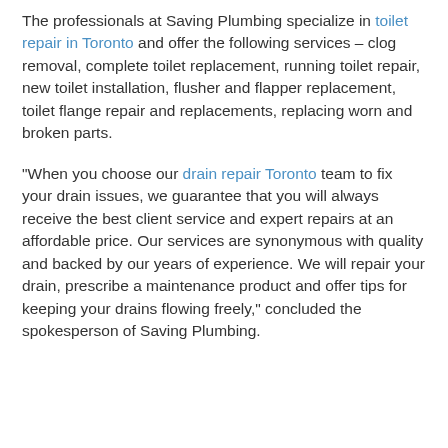The professionals at Saving Plumbing specialize in toilet repair in Toronto and offer the following services – clog removal, complete toilet replacement, running toilet repair, new toilet installation, flusher and flapper replacement, toilet flange repair and replacements, replacing worn and broken parts.
"When you choose our drain repair Toronto team to fix your drain issues, we guarantee that you will always receive the best client service and expert repairs at an affordable price. Our services are synonymous with quality and backed by our years of experience. We will repair your drain, prescribe a maintenance product and offer tips for keeping your drains flowing freely," concluded the spokesperson of Saving Plumbing.